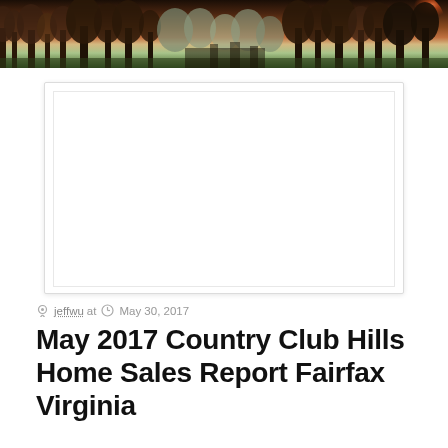[Figure (photo): Header banner photograph showing trees with snow/frost and a sunset/dusk sky with warm orange tones in the upper right]
[Figure (other): White rectangular card/image placeholder with light border and subtle shadow]
jeffwu at  May 30, 2017
May 2017 Country Club Hills Home Sales Report Fairfax Virginia